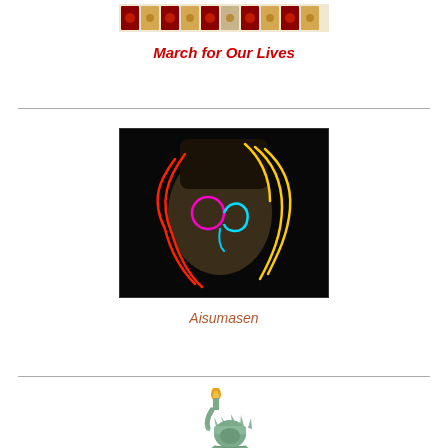[Figure (illustration): Colorful mosaic/tile banner image at the top]
March for Our Lives
[Figure (illustration): Neon light drawing of a face (John Lennon style) on black background with red, yellow, magenta, cyan neon lines]
Aisumasen
[Figure (illustration): Statue of Liberty torch and upper portion on white background]